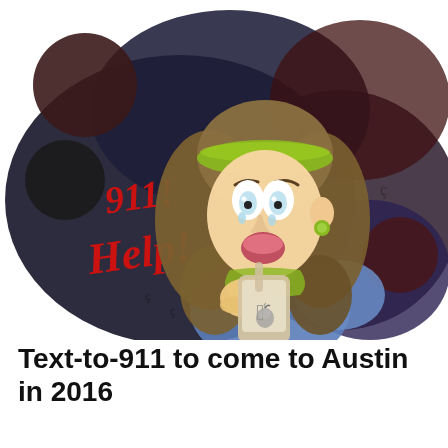[Figure (illustration): Cartoon illustration of a distressed woman with brown hair and a green headband, holding an iPhone and texting. She has wide eyes, tears, and an open mouth. Around her is a dark storm cloud-like background with red text reading '911! Help!' suggesting she is texting 911 for help. There are dark circles and shapes surrounding the cloud.]
Text-to-911 to come to Austin in 2016